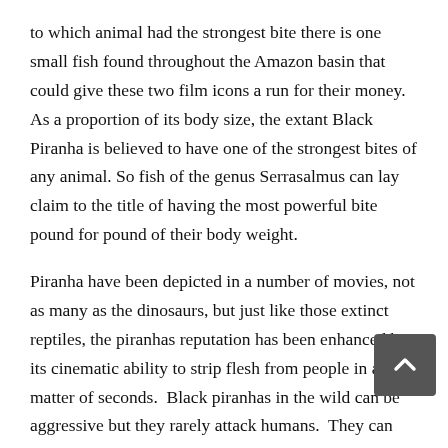to which animal had the strongest bite there is one small fish found throughout the Amazon basin that could give these two film icons a run for their money. As a proportion of its body size, the extant Black Piranha is believed to have one of the strongest bites of any animal. So fish of the genus Serrasalmus can lay claim to the title of having the most powerful bite pound for pound of their body weight.
Piranha have been depicted in a number of movies, not as many as the dinosaurs, but just like those extinct reptiles, the piranhas reputation has been enhanced by its cinematic ability to strip flesh from people in a matter of seconds. Black piranhas in the wild can be aggressive but they rarely attack humans. They can grow up to about forty centimetres in length and they